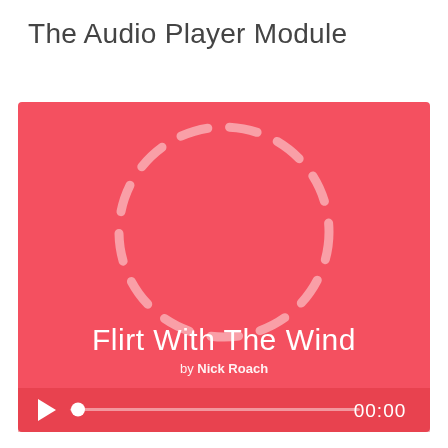The Audio Player Module
[Figure (screenshot): Audio player UI with red/coral background showing a dashed circle outline in the center, song title 'Flirt With The Wind' by Nick Roach, play button, progress bar with dot indicator at start, and time display showing 00:00]